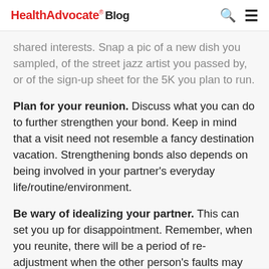HealthAdvocate® Blog
shared interests. Snap a pic of a new dish you sampled, of the street jazz artist you passed by, or of the sign-up sheet for the 5K you plan to run.
Plan for your reunion. Discuss what you can do to further strengthen your bond. Keep in mind that a visit need not resemble a fancy destination vacation. Strengthening bonds also depends on being involved in your partner's everyday life/routine/environment.
Be wary of idealizing your partner. This can set you up for disappointment. Remember, when you reunite, there will be a period of re-adjustment when the other person's faults may come into view again. Don't let it overshadow his or her assets.
Really listen to and applaud new experiences and